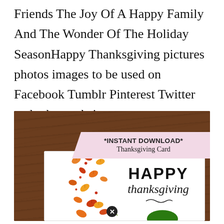Friends The Joy Of A Happy Family And The Wonder Of The Holiday SeasonHappy Thanksgiving pictures photos images to be used on Facebook Tumblr Pinterest Twitter and other websites.
[Figure (photo): A Thanksgiving greeting card displayed on a rustic dark wood background. A pink diagonal banner in the upper right reads '*INSTANT DOWNLOAD* Thanksgiving Card'. The card itself is white with scattered watercolor autumn leaves (orange, red, yellow) and features the text 'HAPPY thanksgiving' in bold black lettering on the right side, with a pumpkin partially visible at the bottom. A small black close/X button circle appears at the bottom center of the image.]